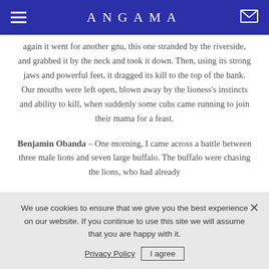ANGAMA
again it went for another gnu, this one stranded by the riverside, and grabbed it by the neck and took it down. Then, using its strong jaws and powerful feet, it dragged its kill to the top of the bank. Our mouths were left open, blown away by the lioness's instincts and ability to kill, when suddenly some cubs came running to join their mama for a feast.
Benjamin Obanda – One morning, I came across a battle between three male lions and seven large buffalo. The buffalo were chasing the lions, who had already
We use cookies to ensure that we give you the best experience on our website. If you continue to use this site we will assume that you are happy with it.
Privacy Policy  I agree